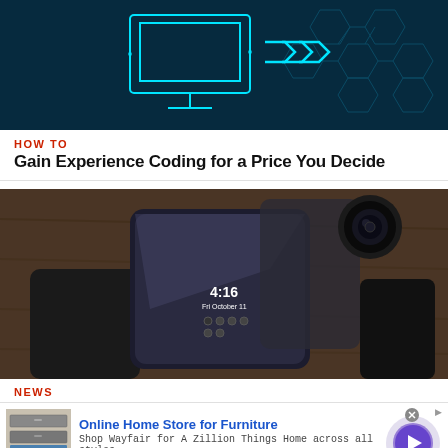[Figure (illustration): Dark teal technology banner with neon cyan outlines of a computer monitor and network/hexagon graphics with arrow motifs on the right]
HOW TO
Gain Experience Coding for a Price You Decide
[Figure (photo): Dark smartphone with mirror-like screen showing 4:16 Fri October 11, placed on wooden surface next to a camera lens attachment and a black phone case]
NEWS
[Figure (screenshot): Advertisement banner: Online Home Store for Furniture - Wayfair ad with furniture image on left, text in center, and a purple circle arrow button on the right]